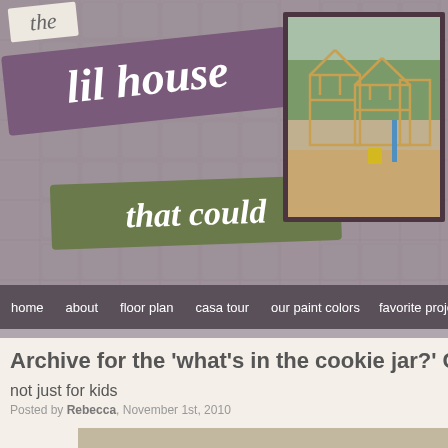[Figure (screenshot): Blog header banner with decorative text logos: 'the', 'lil house', 'that could' on a grey grid background, plus a construction site photo on the right]
home  about  floor plan  casa tour  our paint colors  favorite projects
Archive for the 'what’s in the cookie jar?' C
not just for kids
Posted by Rebecca, November 1st, 2010
[Figure (photo): Blurred close-up photo of glass cookie jars on a counter]